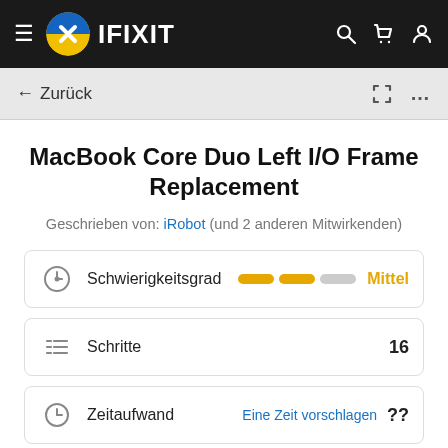iFixit navigation bar with hamburger menu, iFixit logo, search, cart, and user icons
← Zurück
MacBook Core Duo Left I/O Frame Replacement
Geschrieben von: iRobot (und 2 anderen Mitwirkenden)
Schwierigkeitsgrad — Mittel
Schritte — 16
Zeitaufwand — Eine Zeit vorschlagen ??